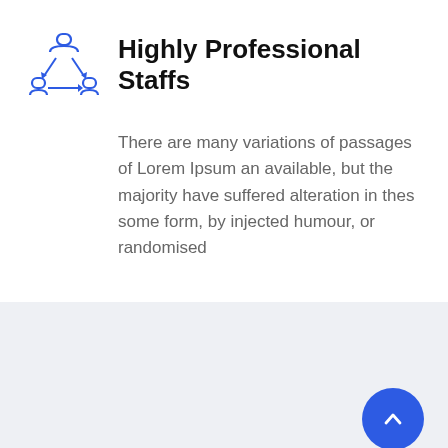[Figure (illustration): Blue icon showing three people connected in a network/team arrangement with arrows between them]
Highly Professional Staffs
There are many variations of passages of Lorem Ipsum an available, but the majority have suffered alteration in thes some form, by injected humour, or randomised
[Figure (illustration): Blue circular scroll-to-top button with a white upward chevron arrow]